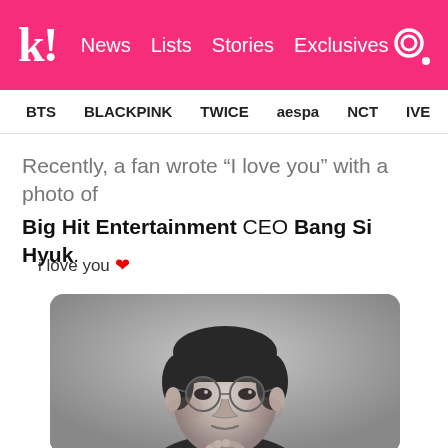k! News  Lists  Stories  Exclusives
BTS  BLACKPINK  TWICE  aespa  NCT  IVE  ITZY
Recently, a fan wrote “I love you” with a photo of Big Hit Entertainment CEO Bang Si Hyuk.
i love you ❤️
[Figure (photo): Black and white portrait photo of Bang Si Hyuk wearing round glasses and a suit, shown from chest up against a gray background]